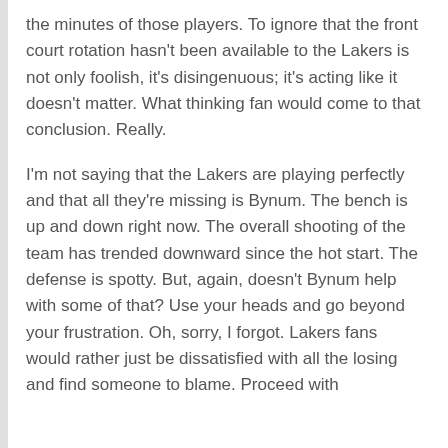the minutes of those players. To ignore that the front court rotation hasn't been available to the Lakers is not only foolish, it's disingenuous; it's acting like it doesn't matter. What thinking fan would come to that conclusion. Really.
I'm not saying that the Lakers are playing perfectly and that all they're missing is Bynum. The bench is up and down right now. The overall shooting of the team has trended downward since the hot start. The defense is spotty. But, again, doesn't Bynum help with some of that? Use your heads and go beyond your frustration. Oh, sorry, I forgot. Lakers fans would rather just be dissatisfied with all the losing and find someone to blame. Proceed with